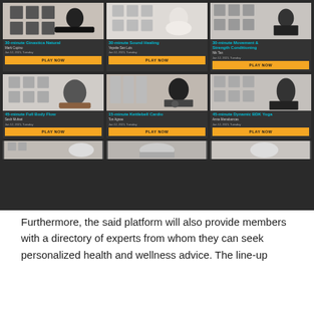[Figure (screenshot): A dark-themed fitness platform UI showing a 3-column grid of workout video cards. Row 1: '30-minute Ginastica Natural' by Mark Cupino, Jan 12 2021 Tuesday; '30-minute Sound Healing' by Yeyette San Luis, Jan 12 2021 Tuesday; '30-minute Movement & Strength Conditioning' by Nik Tan, Jan 12 2021 Tuesday. Row 2: '45-minute Full Body Flow' by Sesh Muhari, Jan 12 2021 Tuesday; '15-minute Kettlebell Cardio' by Ton Agnas, Jan 12 2021 Tuesday; '45-minute Dynamic BDK Yoga' by Anna Manabancas, Jan 12 2021 Tuesday. Each card has a PLAY NOW button in orange. A partial third row is visible at the bottom.]
Furthermore, the said platform will also provide members with a directory of experts from whom they can seek personalized health and wellness advice. The line-up